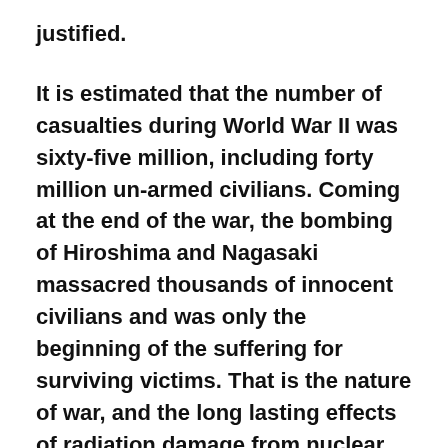justified.
It is estimated that the number of casualties during World War II was sixty-five million, including forty million un-armed civilians. Coming at the end of the war, the bombing of Hiroshima and Nagasaki massacred thousands of innocent civilians and was only the beginning of the suffering for surviving victims. That is the nature of war, and the long lasting effects of radiation damage from nuclear technology.
Japan has been nuclear-free since last September, because its sole operating nuclear reactor shut down for maintenance